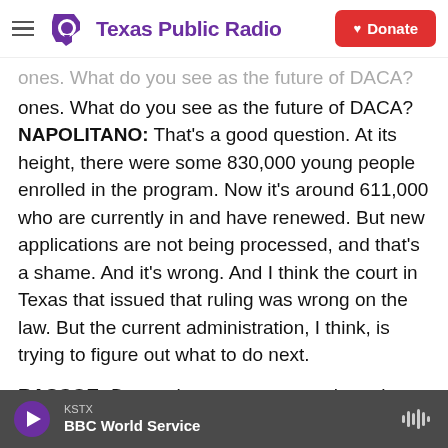Texas Public Radio | Donate
ones. What do you see as the future of DACA?
NAPOLITANO: That's a good question. At its height, there were some 830,000 young people enrolled in the program. Now it's around 611,000 who are currently in and have renewed. But new applications are not being processed, and that's a shame. And it's wrong. And I think the court in Texas that issued that ruling was wrong on the law. But the current administration, I think, is trying to figure out what to do next.
RASCOE: Do you have any regrets about the way
KSTX | BBC World Service